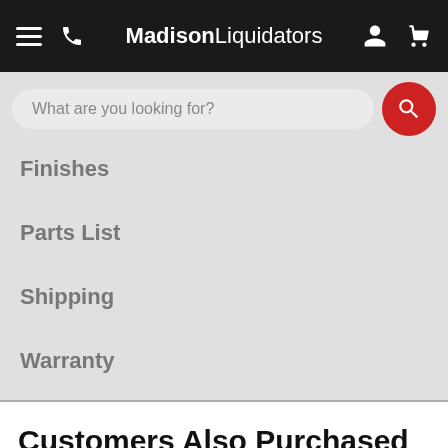MadisonLiquidators
What are you looking for?
Finishes
Parts List
Shipping
Warranty
Customers Also Purchased
[Figure (photo): Product thumbnail image showing a metallic/grey product at bottom of page]